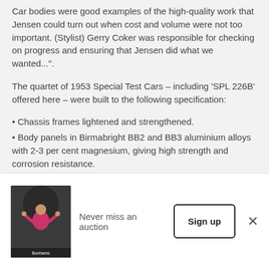Car bodies were good examples of the high-quality work that Jensen could turn out when cost and volume were not too important. (Stylist) Gerry Coker was responsible for checking on progress and ensuring that Jensen did what we wanted...".
The quartet of 1953 Special Test Cars – including 'SPL 226B' offered here – were built to the following specification:
Chassis frames lightened and strengthened.
Body panels in Birmabright BB2 and BB3 aluminium alloys with 2-3 per cent magnesium, giving high strength and corrosion resistance.
[Figure (photo): Thumbnail photo of a person in a pink top at an auction, with 'Bonhams' text visible]
Never miss an auction
Sign up